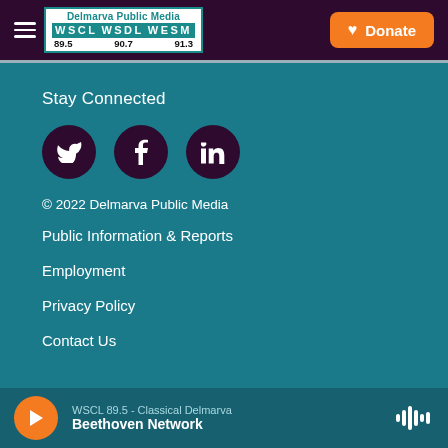[Figure (logo): Delmarva Public Media logo with WSCL WSDL WESM 89.5 90.7 91.3]
Donate
Stay Connected
[Figure (illustration): Three social media icons: Twitter, Facebook, LinkedIn on dark purple circles]
© 2022 Delmarva Public Media
Public Information & Reports
Employment
Privacy Policy
Contact Us
WSCL 89.5 - Classical Delmarva
Beethoven Network